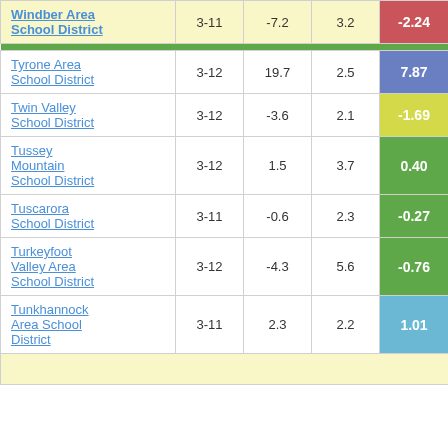| District | Grades | Col3 | Col4 | Score | Col6 |
| --- | --- | --- | --- | --- | --- |
| Windber Area School District | 3-11 | -7.2 | 3.2 | -2.24 | 5... |
| Tyrone Area School District | 3-12 | 19.7 | 2.5 | 7.87 |  |
| Twin Valley School District | 3-12 | -3.6 | 2.1 | -1.69 |  |
| Tussey Mountain School District | 3-12 | 1.5 | 3.7 | 0.40 |  |
| Tuscarora School District | 3-11 | -0.6 | 2.3 | -0.27 |  |
| Turkeyfoot Valley Area School District | 3-12 | -4.3 | 5.6 | -0.76 |  |
| Tunkhannock Area School District | 3-11 | 2.3 | 2.2 | 1.01 |  |